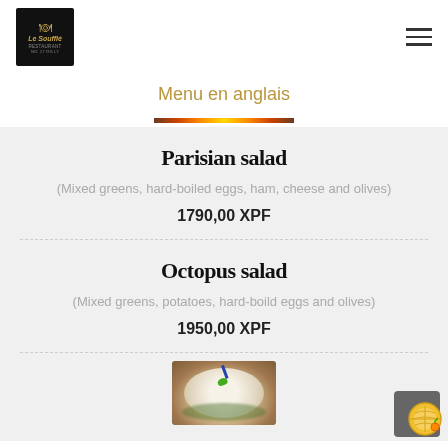[Figure (logo): Le Soufflé restaurant logo: chef hat on black background with gold text]
Menu en anglais
Parisian salad
(Mixed greens, hard-boiled eggs, ham, cheese and olives)
1790,00 XPF
Octopus salad
(Mixed greens, potatoes, hard-boild eggs and olives)
1950,00 XPF
[Figure (photo): Photo of a salad dish on a plate with garnish]